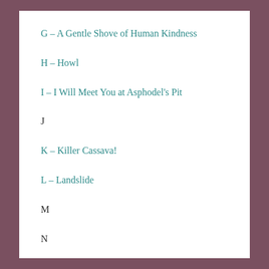G – A Gentle Shove of Human Kindness
H – Howl
I – I Will Meet You at Asphodel's Pit
J
K – Killer Cassava!
L – Landslide
M
N